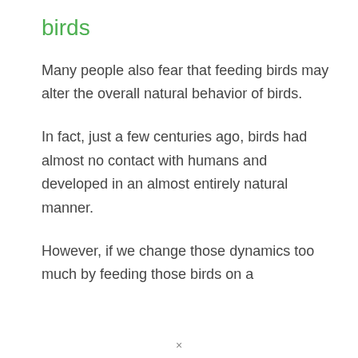birds
Many people also fear that feeding birds may alter the overall natural behavior of birds.
In fact, just a few centuries ago, birds had almost no contact with humans and developed in an almost entirely natural manner.
However, if we change those dynamics too much by feeding those birds on a
×